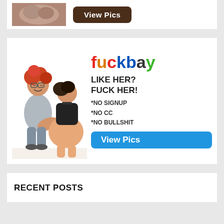[Figure (illustration): Top ad banner with photo and brown View Pics button]
[Figure (illustration): Fuckbay ad with cartoon illustration, text LIKE HER? FUCK HER! *NO SIGNUP *NO CC *NO BULLSHIT and blue View Pics button]
RECENT POSTS